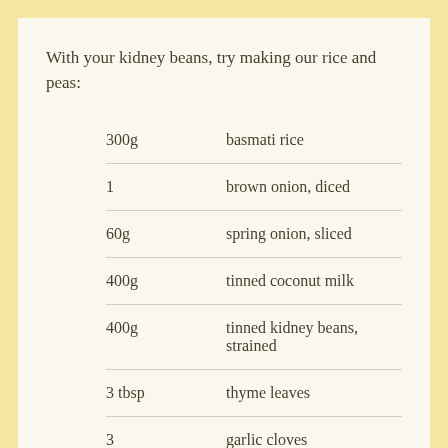With your kidney beans, try making our rice and peas:
| 300g | basmati rice |
| 1 | brown onion, diced |
| 60g | spring onion, sliced |
| 400g | tinned coconut milk |
| 400g | tinned kidney beans, strained |
| 3 tbsp | thyme leaves |
| 3 | garlic cloves |